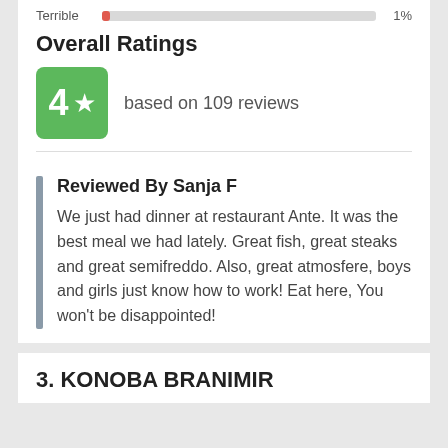Terrible 1%
Overall Ratings
4 ★ based on 109 reviews
Reviewed By Sanja F
We just had dinner at restaurant Ante. It was the best meal we had lately. Great fish, great steaks and great semifreddo. Also, great atmosfere, boys and girls just know how to work! Eat here, You won't be disappointed!
3. KONOBA BRANIMIR